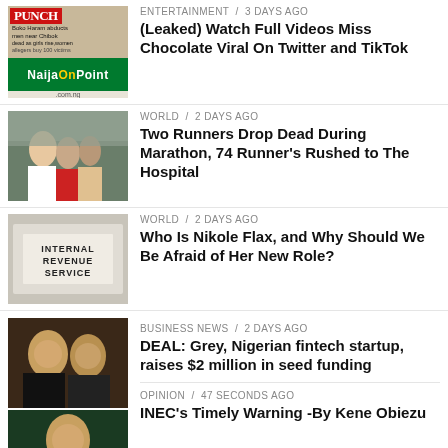[Figure (screenshot): Thumbnail of NaijaOnPoint newspaper website with Punch newspaper image]
ENTERTAINMENT / 3 days ago
(Leaked) Watch Full Videos Miss Chocolate Viral On Twitter and TikTok
[Figure (photo): Runners in a marathon race]
WORLD / 2 days ago
Two Runners Drop Dead During Marathon, 74 Runner's Rushed to The Hospital
[Figure (photo): Internal Revenue Service building sign]
WORLD / 2 days ago
Who Is Nikole Flax, and Why Should We Be Afraid of Her New Role?
[Figure (photo): Two smiling men, fintech startup founders]
BUSINESS NEWS / 2 days ago
DEAL: Grey, Nigerian fintech startup, raises $2 million in seed funding
[Figure (photo): Person in delivery uniform with green bag]
OPINION / 47 seconds ago
INEC's Timely Warning -By Kene Obiezu